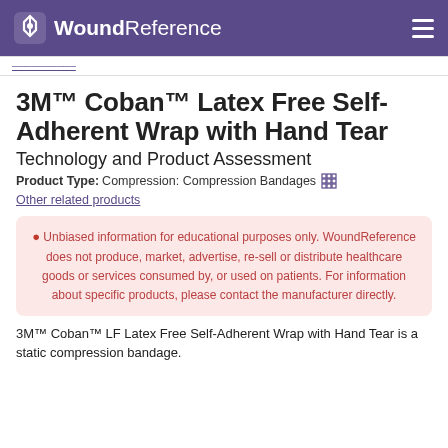WoundReference
3M™ Coban™ Latex Free Self-Adherent Wrap with Hand Tear
Technology and Product Assessment
Product Type: Compression: Compression Bandages
Other related products
🔴 Unbiased information for educational purposes only. WoundReference does not produce, market, advertise, re-sell or distribute healthcare goods or services consumed by, or used on patients. For information about specific products, please contact the manufacturer directly.
3M™ Coban™ LF Latex Free Self-Adherent Wrap with Hand Tear is a static compression bandage.